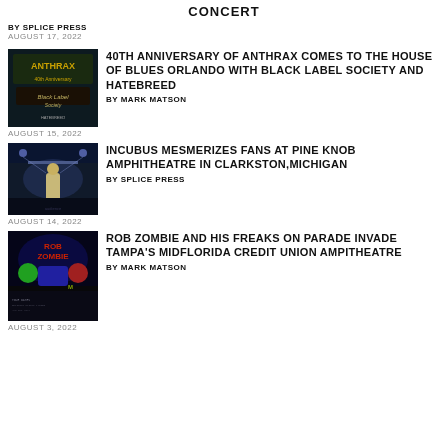CONCERT
BY SPLICE PRESS
AUGUST 17, 2022
[Figure (photo): Anthrax and Black Label Society concert promotional image with text on dark background]
40TH ANNIVERSARY OF ANTHRAX COMES TO THE HOUSE OF BLUES ORLANDO WITH BLACK LABEL SOCIETY AND HATEBREED
BY MARK MATSON
AUGUST 15, 2022
[Figure (photo): Incubus concert at Pine Knob Amphitheatre, performer on stage with blue lighting]
INCUBUS MESMERIZES FANS AT PINE KNOB AMPHITHEATRE IN CLARKSTON,MICHIGAN
BY SPLICE PRESS
AUGUST 14, 2022
[Figure (photo): Rob Zombie Freaks on Parade tour promotional poster with colorful monster graphics and tour dates]
ROB ZOMBIE AND HIS FREAKS ON PARADE INVADE TAMPA'S MIDFLORIDA CREDIT UNION AMPITHEATRE
BY MARK MATSON
AUGUST 3, 2022